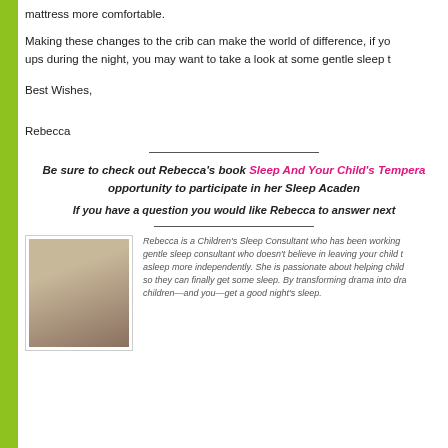mattress more comfortable.
Making these changes to the crib can make the world of difference, if yo ups during the night, you may want to take a look at some gentle sleep t
Best Wishes,

Rebecca
Be sure to check out Rebecca's book Sleep And Your Child's Tempera opportunity to participate in her Sleep Acaden
If you have a question you would like Rebecca to answer next
[Figure (photo): Headshot photo of Rebecca, a woman with shoulder-length brown hair, smiling, wearing a dark jacket.]
Rebecca is a Children's Sleep Consultant who has been working gentle sleep consultant who doesn't believe in leaving your child t asleep more independently. She is passionate about helping child so they can finally get some sleep. By transforming drama into dra children—and you—get a good night's sleep.